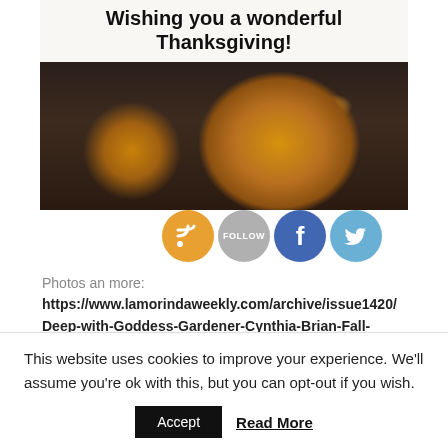[Figure (photo): Thanksgiving-themed image with text overlay 'Wishing you a wonderful Thanksgiving!' and photos of pumpkin pies on a dark background, with social media icons (RSS, Follow, Facebook, Twitter) below.]
Photos an more:
https://www.lamorindaweekly.com/archive/issue1420/Deep-with-Goddess-Gardener-Cynthia-Brian-Fall-fireworks.html
This website uses cookies to improve your experience. We'll assume you're ok with this, but you can opt-out if you wish.
Accept   Read More